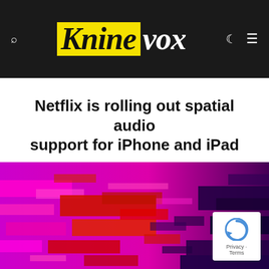Kninevox
Netflix is rolling out spatial audio support for iPhone and iPad
Apps · August 19, 2021
[Figure (photo): Abstract colorful pixel art image with magenta, red, and dark blue/purple rectangular shapes on a light background, used as a feature image for the article.]